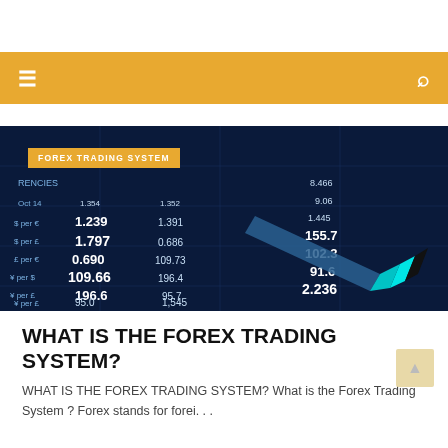[Figure (photo): Forex trading board with currency exchange rates displayed in blue, showing values like 1.797, 0.690, 109.66, 196.6, 95.0, 102.3, 91.6, 2.236 with a pen pointing at the board. Category tag reads FOREX TRADING SYSTEM.]
WHAT IS THE FOREX TRADING SYSTEM?
WHAT IS THE FOREX TRADING SYSTEM? What is the Forex Trading System ? Forex stands for forei. . .